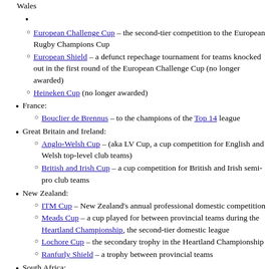Wales (partial, top)
European Challenge Cup – the second-tier competition to the European Rugby Champions Cup
European Shield – a defunct repechage tournament for teams knocked out in the first round of the European Challenge Cup (no longer awarded)
Heineken Cup (no longer awarded)
France:
Bouclier de Brennus – to the champions of the Top 14 league
Great Britain and Ireland:
Anglo-Welsh Cup – (aka LV Cup, a cup competition for English and Welsh top-level club teams)
British and Irish Cup – a cup competition for British and Irish semi-pro club teams
New Zealand:
ITM Cup – New Zealand's annual professional domestic competition
Meads Cup – a cup played for between provincial teams during the Heartland Championship, the second-tier domestic league
Lochore Cup – the secondary trophy in the Heartland Championship
Ranfurly Shield – a trophy between provincial teams
South Africa: